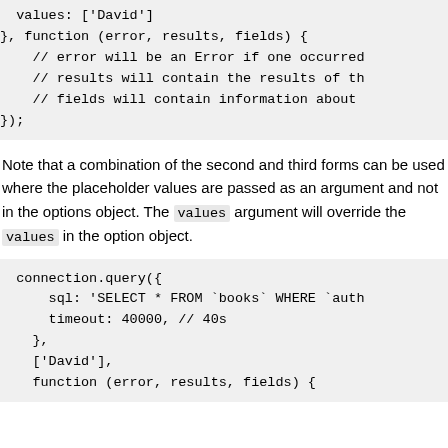values: ['David']
}, function (error, results, fields) {
    // error will be an Error if one occurred
    // results will contain the results of th
    // fields will contain information about
});
Note that a combination of the second and third forms can be used where the placeholder values are passed as an argument and not in the options object. The values argument will override the values in the option object.
connection.query({
    sql: 'SELECT * FROM `books` WHERE `auth
    timeout: 40000, // 40s
  },
  ['David'],
  function (error, results, fields) {